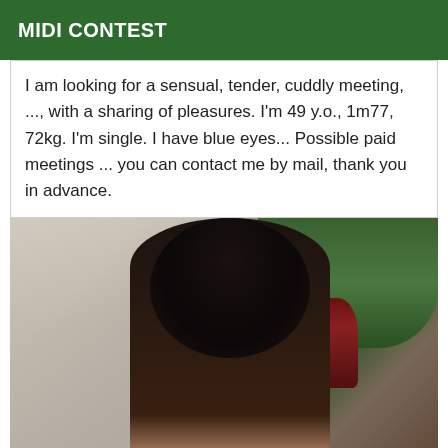MIDI CONTEST
I am looking for a sensual, tender, cuddly meeting, ..., with a sharing of pleasures. I'm 49 y.o., 1m77, 72kg. I'm single. I have blue eyes... Possible paid meetings ... you can contact me by mail, thank you in advance.
[Figure (photo): A person with dark hair photographed from behind/side in an indoor setting with curtains and a plant with a decorative vase in the background.]